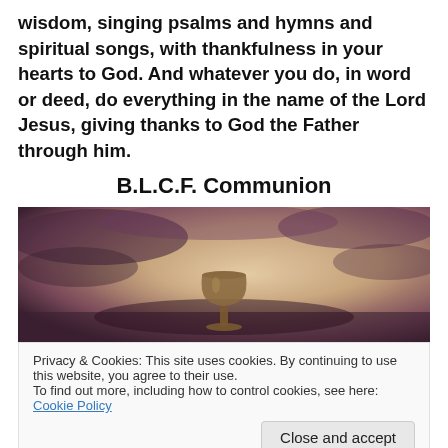wisdom, singing psalms and hymns and spiritual songs, with thankfulness in your hearts to God. And whatever you do, in word or deed, do everything in the name of the Lord Jesus, giving thanks to God the Father through him.
B.L.C.F. Communion
[Figure (photo): Sepia-toned photo of a communion chalice/goblet silhouetted against a dramatic cloudy sky background with warm and dark tones]
Privacy & Cookies: This site uses cookies. By continuing to use this website, you agree to their use.
To find out more, including how to control cookies, see here: Cookie Policy
Close and accept